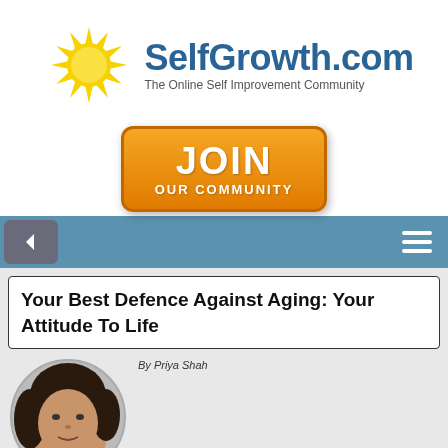[Figure (logo): SelfGrowth.com logo with sun graphic and tagline 'The Online Self Improvement Community']
[Figure (other): Orange JOIN OUR COMMUNITY button]
[Figure (other): Navigation bar with back arrow and hamburger menu on blue background]
Your Best Defence Against Aging: Your Attitude To Life
[Figure (photo): Circular profile photo of a woman with dark curly hair]
By Priya Shah